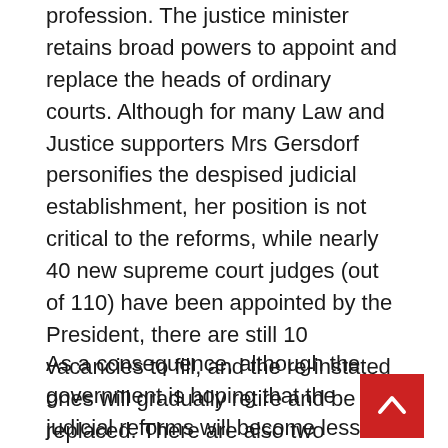profession. The justice minister retains broad powers to appoint and replace the heads of ordinary courts. Although for many Law and Justice supporters Mrs Gersdorf personifies the despised judicial establishment, her position is not critical to the reforms, while nearly 40 new supreme court judges (out of 110) have been appointed by the President, there are still 10 vacancies to fill, and the re-instated ones will gradually retire and be replaced. There are also two powerful new supreme court chambers dominated by new appointees: one dealing with disciplinary issues relating to the legal profession; the other overseeing a new ‘extraordinary appeals’ procedure that allows for the review of ‘wrongly passed’ court judgements from the past 20 years.
As a consequence, although the government is hoping that the judicial reforms will become less salient in framing public perceptions of Poland-EU relations, the issue is not going to disappear. While the Commission welcomed the re-instatement of the retired judges, it also indicated that it would not withdraw its Court of Justice referral, to prevent Warsaw from...